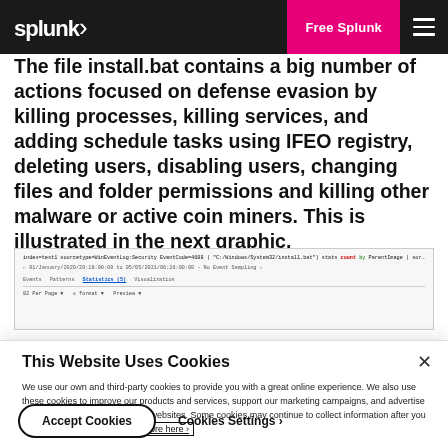splunk> | Free Splunk
The file install.bat contains a big number of actions focused on defense evasion by killing processes, killing services, and adding schedule tasks using IFEO registry, deleting users, disabling users, changing files and folder permissions and killing other malware or active coin miners. This is illustrated in the next graphic.
[Figure (screenshot): Splunk interface screenshot showing a search query result with tabs: Events, Patterns, Statistics, Visualization, and stats rows below.]
This Website Uses Cookies
We use our own and third-party cookies to provide you with a great online experience. We also use these cookies to improve our products and services, support our marketing campaigns, and advertise to you on our website and other websites. Some cookies may continue to collect information after you have left our website. Learn more here ›
Accept Cookies    Cookies Settings ›